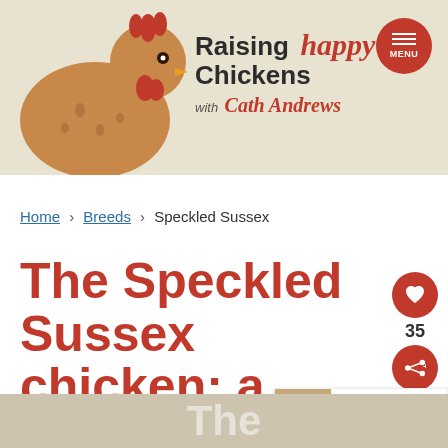Raising happy Chickens with Cath Andrews
Home › Breeds › Speckled Sussex
The Speckled Sussex chicken: a family-friendly chat-show host.
WHAT'S NEXT → Silkie chickens: h...
[Figure (other): Bottom strip showing partial article image with white 'The' text watermark]